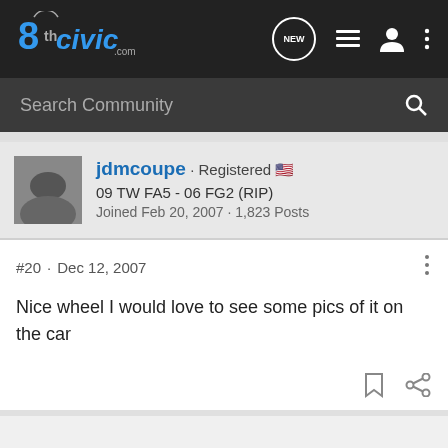8thCivic.com
Search Community
jdmcoupe · Registered
09 TW FA5 - 06 FG2 (RIP)
Joined Feb 20, 2007 · 1,823 Posts
#20 · Dec 12, 2007
Nice wheel I would love to see some pics of it on the car